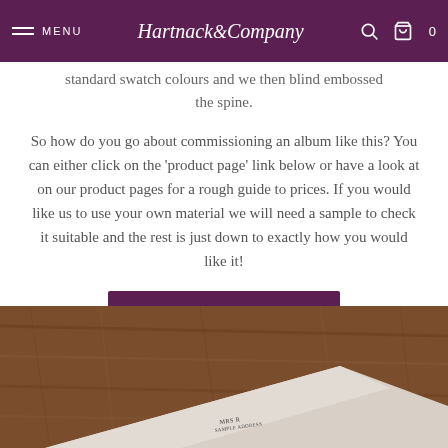MENU | Hartnack & Company | 0
standard swatch colours and we then blind embossed the spine.
So how do you go about commissioning an album like this? You can either click on the 'product page' link below or have a look at on our product pages for a rough guide to prices. If you would like us to use your own material we will need a sample to check it suitable and the rest is just down to exactly how you would like it!
PRODUCT PAGE
[Figure (photo): Photo of a light grey/cream paper or booklet lying at an angle on a dark wooden table surface, with partial text visible on the paper.]